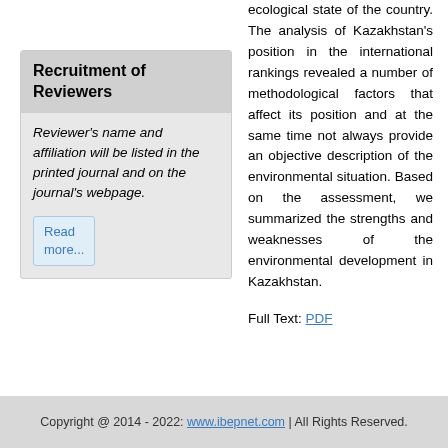Recruitment of Reviewers
Reviewer's name and affiliation will be listed in the printed journal and on the journal's webpage.
Read more...
ecological state of the country. The analysis of Kazakhstan’s position in the international rankings revealed a number of methodological factors that affect its position and at the same time not always provide an objective description of the environmental situation. Based on the assessment, we summarized the strengths and weaknesses of the environmental development in Kazakhstan.
Full Text: PDF
Copyright @ 2014 - 2022: www.ibepnet.com | All Rights Reserved.